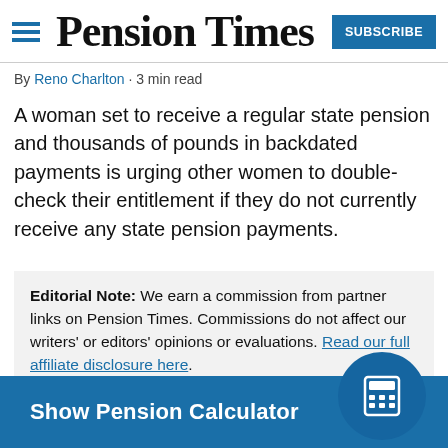Pension Times
By Reno Charlton · 3 min read
A woman set to receive a regular state pension and thousands of pounds in backdated payments is urging other women to double-check their entitlement if they do not currently receive any state pension payments.
Editorial Note: We earn a commission from partner links on Pension Times. Commissions do not affect our writers' or editors' opinions or evaluations. Read our full affiliate disclosure here.
Show Pension Calculator